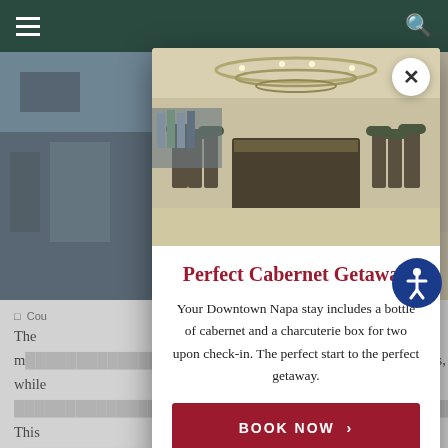Navigation header with hamburger menu and search icon
[Figure (photo): Background image of a hotel bar/restaurant with round bar seating area and decorative chandelier]
□  Cou...
The m... ands, while ...
This a... able metho... hile most s... intense... s, increa... et, and u... e. When... it's important to determine what you'd like to get out of it.
[Figure (photo): Modal popup showing hotel bar interior with round chandelier, bar stools, and bar counter]
Perfect Cabernet Getaway
Your Downtown Napa stay includes a bottle of cabernet and a charcuterie box for two upon check-in. The perfect start to the perfect getaway.
BOOK NOW >